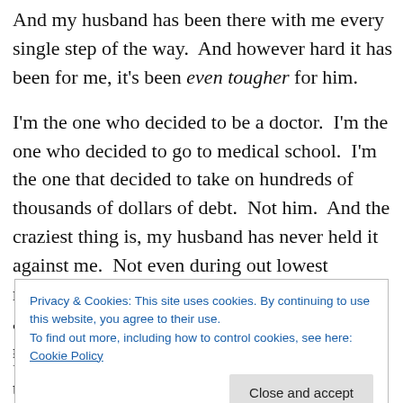And my husband has been there with me every single step of the way. And however hard it has been for me, it's been even tougher for him.
I'm the one who decided to be a doctor. I'm the one who decided to go to medical school. I'm the one that decided to take on hundreds of thousands of dollars of debt. Not him. And the craziest thing is, my husband has never held it against me. Not even during out lowest moments. Not even during our worst arguments. There hasn't been a single time that my husband has said, “Maybe you
Privacy & Cookies: This site uses cookies. By continuing to use this website, you agree to their use.
To find out more, including how to control cookies, see here: Cookie Policy
Even though I've thought it about a thousand times. And I